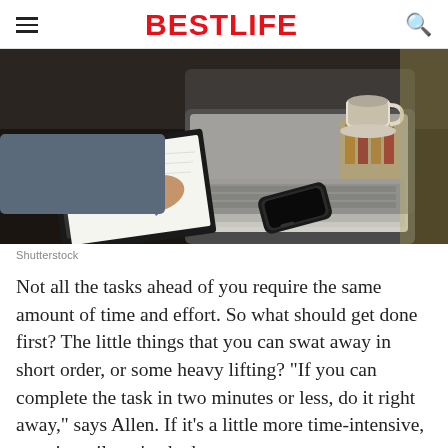BestLife
[Figure (photo): Person writing in notebook with laptop open on dark desk, smartphone nearby, coffee cup in background]
Shutterstock
Not all the tasks ahead of you require the same amount of time and effort. So what should get done first? The little things that you can swat away in short order, or some heavy lifting? "If you can complete the task in two minutes or less, do it right away," says Allen. If it's a little more time-intensive, save it until you've had a